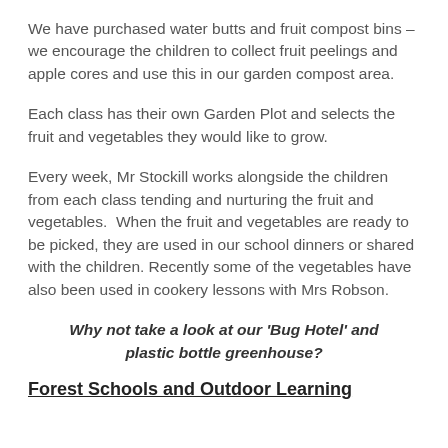We have purchased water butts and fruit compost bins – we encourage the children to collect fruit peelings and apple cores and use this in our garden compost area.
Each class has their own Garden Plot and selects the fruit and vegetables they would like to grow.
Every week, Mr Stockill works alongside the children from each class tending and nurturing the fruit and vegetables.  When the fruit and vegetables are ready to be picked, they are used in our school dinners or shared with the children. Recently some of the vegetables have also been used in cookery lessons with Mrs Robson.
Why not take a look at our ‘Bug Hotel’ and plastic bottle greenhouse?
Forest Schools and Outdoor Learning